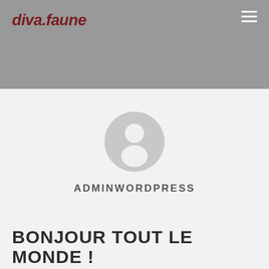diva.faune
[Figure (illustration): Gray circular avatar with a white generic person silhouette (head and torso), typical WordPress default user avatar]
ADMINWORDPRESS
BONJOUR TOUT LE MONDE !